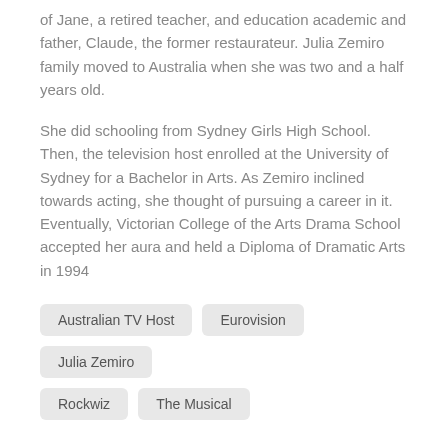of Jane, a retired teacher, and education academic and father, Claude, the former restaurateur. Julia Zemiro family moved to Australia when she was two and a half years old.
She did schooling from Sydney Girls High School. Then, the television host enrolled at the University of Sydney for a Bachelor in Arts. As Zemiro inclined towards acting, she thought of pursuing a career in it. Eventually, Victorian College of the Arts Drama School accepted her aura and held a Diploma of Dramatic Arts in 1994
Australian TV Host
Eurovision
Julia Zemiro
Rockwiz
The Musical